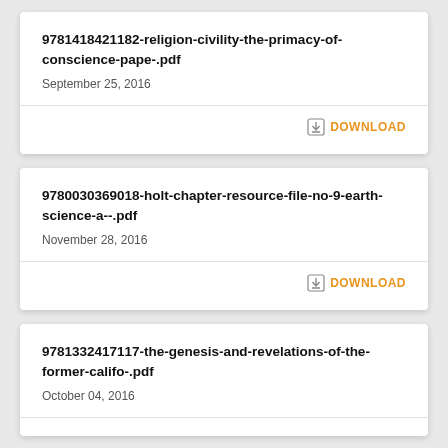9781418421182-religion-civility-the-primacy-of-conscience-pape-.pdf
September 25, 2016
DOWNLOAD
9780030369018-holt-chapter-resource-file-no-9-earth-science-a--.pdf
November 28, 2016
DOWNLOAD
9781332417117-the-genesis-and-revelations-of-the-former-califo-.pdf
October 04, 2016